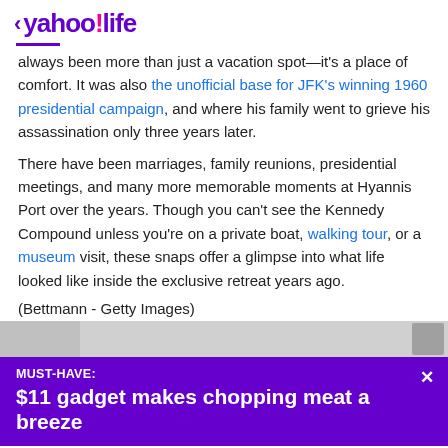< yahoo!life
always been more than just a vacation spot—it's a place of comfort. It was also the unofficial base for JFK's winning 1960 presidential campaign, and where his family went to grieve his assassination only three years later.
There have been marriages, family reunions, presidential meetings, and many more memorable moments at Hyannis Port over the years. Though you can't see the Kennedy Compound unless you're on a private boat, walking tour, or a museum visit, these snaps offer a glimpse into what life looked like inside the exclusive retreat years ago.
(Bettmann - Getty Images)
[Figure (photo): Partial view of a photograph, partially obscured by ad banner]
MUST-HAVE:
$11 gadget makes chopping meat a breeze
View comments